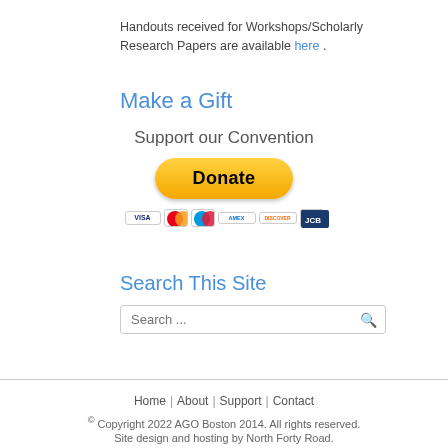Handouts received for Workshops/Scholarly Research Papers are available here .
Make a Gift
Support our Convention
[Figure (other): PayPal Donate button with yellow rounded rectangle labeled 'Donate' in bold, and a row of credit card icons below (Visa, Mastercard, Maestro, American Express, Discover, and one more).]
Search This Site
Search ...
Home | About | Support | Contact
© Copyright 2022 AGO Boston 2014. All rights reserved.
Site design and hosting by North Forty Road.